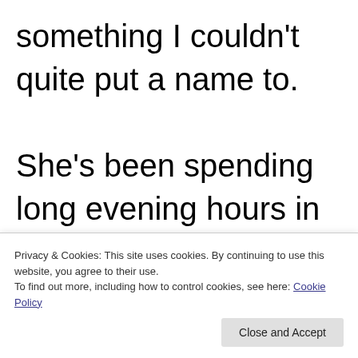something I couldn't quite put a name to.

She's been spending long evening hours in the bath. One time, even though I knew I shouldn't have done it, I stood at practising holding her breath. She
Privacy & Cookies: This site uses cookies. By continuing to use this website, you agree to their use.
To find out more, including how to control cookies, see here: Cookie Policy